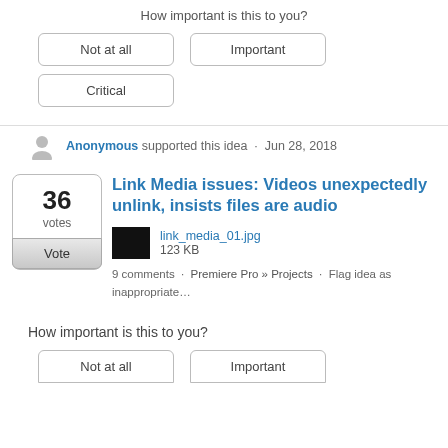How important is this to you?
Not at all | Important | Critical
Anonymous supported this idea · Jun 28, 2018
Link Media issues: Videos unexpectedly unlink, insists files are audio
[Figure (screenshot): Thumbnail image of link_media_01.jpg, 123 KB]
9 comments · Premiere Pro » Projects · Flag idea as inappropriate…
How important is this to you?